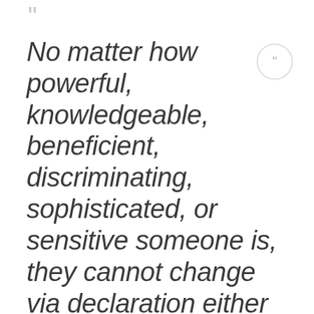[Figure (other): Decorative opening double quotation mark in light gray at top left, and a circular badge with closing quotation marks on the right side]
No matter how powerful, knowledgeable, beneficient, discriminating, sophisticated, or sensitive someone is, they cannot change via declaration either the